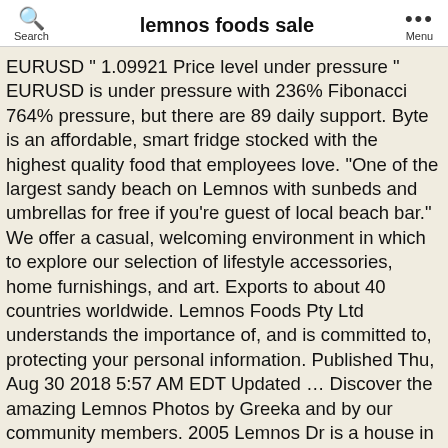Search | lemnos foods sale | Menu
EURUSD " 1.09921 Price level under pressure " EURUSD is under pressure with 236% Fibonacci 764% pressure, but there are 89 daily support. Byte is an affordable, smart fridge stocked with the highest quality food that employees love. "One of the largest sandy beach on Lemnos with sunbeds and umbrellas for free if you're guest of local beach bar." We offer a casual, welcoming environment in which to explore our selection of lifestyle accessories, home furnishings, and art. Exports to about 40 countries worldwide. Lemnos Foods Pty Ltd understands the importance of, and is committed to, protecting your personal information. Published Thu, Aug 30 2018 5:57 AM EDT Updated … Discover the amazing Lemnos Photos by Greeka and by our community members. 2005 Lemnos Dr is a house in Costa Mesa, CA 92626. There are some lovely local foods made in Lemnos that you should try to and take home with you. Established in Australia in 1969, Lemnos has grown to be a well respected manufacturer of premium quality